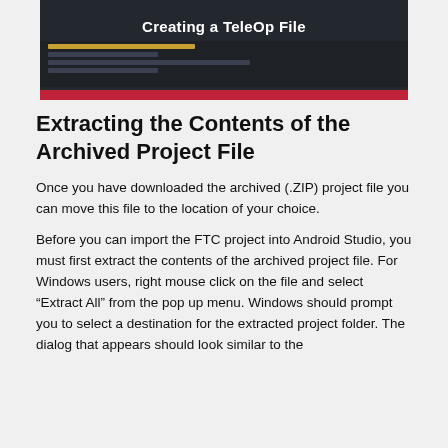[Figure (screenshot): Screenshot of an Android Studio IDE window showing 'Creating a TeleOp File' tutorial title with dark IDE interface and red bottom bar]
Extracting the Contents of the Archived Project File
Once you have downloaded the archived (.ZIP) project file you can move this file to the location of your choice.
Before you can import the FTC project into Android Studio, you must first extract the contents of the archived project file. For Windows users, right mouse click on the file and select “Extract All” from the pop up menu. Windows should prompt you to select a destination for the extracted project folder. The dialog that appears should look similar to the